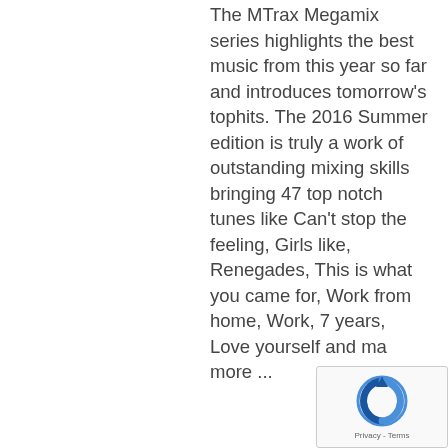The MTrax Megamix series highlights the best music from this year so far and introduces tomorrow's tophits. The 2016 Summer edition is truly a work of outstanding mixing skills bringing 47 top notch tunes like Can't stop the feeling, Girls like, Renegades, This is what you came for, Work from home, Work, 7 years, Love yourself and ma more ...
[Figure (other): reCAPTCHA badge with circular arrow icon and 'Privacy - Terms' text]